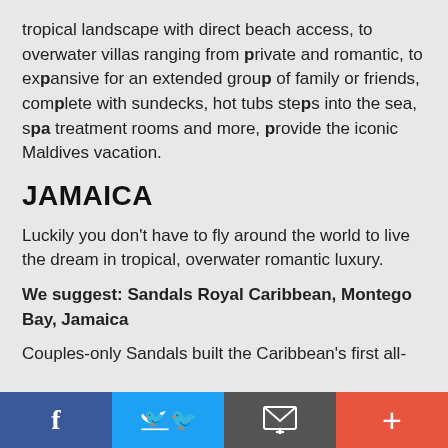tropical landscape with direct beach access, to overwater villas ranging from private and romantic, to expansive for an extended group of family or friends, complete with sundecks, hot tubs steps into the sea, spa treatment rooms and more, provide the iconic Maldives vacation.
JAMAICA
Luckily you don't have to fly around the world to live the dream in tropical, overwater romantic luxury.
We suggest: Sandals Royal Caribbean, Montego Bay, Jamaica
Couples-only Sandals built the Caribbean's first all-
Facebook | Twitter | Email | More